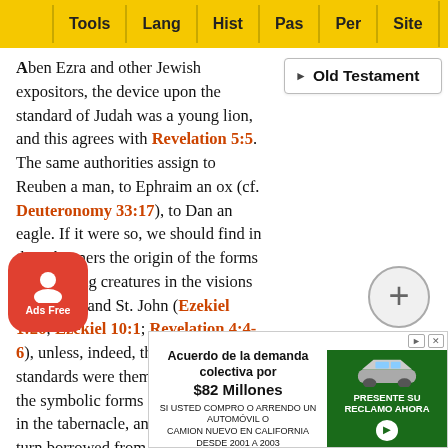Tools | Lang | Hist | Pas | Per | Site
Aben Ezra and other Jewish expositors, the device upon the standard of Judah was a young lion, and this agrees with Revelation 5:5. The same authorities assign to Reuben a man, to Ephraim an ox (cf. Deuteronomy 33:17), to Dan an eagle. If it were so, we should find in these banners the origin of the forms of the living creatures in the visions of Ezekiel and St. John (Ezekiel 1:26; Ezekiel 10:1; Revelation 4:4-6), unless, indeed, the devices on the standards were themselves taken from the symbolic forms of the cherubim in the tabernacle, and these in their turn borrowed from the religious art of Egypt. But the tradition of the Jews is too fluctuating to carry any weight. The Targum of Palestine assigns to Judea the lion, to Reuben a stag, to Ephraim a young man, and to [Dan] a basilisk serpent.
[Figure (screenshot): Old Testament navigation dropdown box]
Numb[ers]
Next
[Figure (infographic): Advertisement: Acuerdo de la demanda colectiva por $82 Millones — SI USTED COMPRO O ARRENDO UN AUTOMOVIL O CAMION NUEVO EN CALIFORNIA DESDE 2001 A 2003 — PRESENTE SU RECLAMO AHORA]